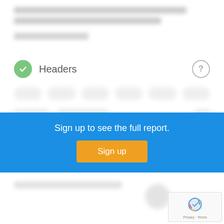[Figure (screenshot): Blurred background content with text lines above the Headers section]
Headers
[Figure (screenshot): Blurred tag pills showing header tag options (H1, H2, H3, H4, H5, H6)]
[Figure (screenshot): Blurred rows of header content details]
Sign up to see the full report.
Sign up
[Figure (screenshot): Blurred bottom content row]
[Figure (screenshot): reCAPTCHA widget with Privacy and Terms links]